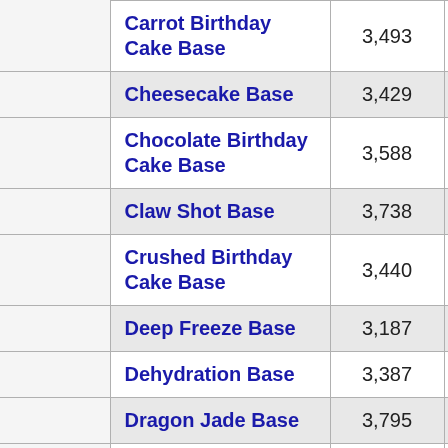| Name | Value | Percent |
| --- | --- | --- |
| Carrot Birthday Cake Base | 3,493 | 10% |
| Cheesecake Base | 3,429 | 8% |
| Chocolate Birthday Cake Base | 3,588 | 13% |
| Claw Shot Base | 3,738 | 15% |
| Crushed Birthday Cake Base | 3,440 | 8% |
| Deep Freeze Base | 3,187 | 5% |
| Dehydration Base | 3,387 | 5% |
| Dragon Jade Base | 3,795 | 15% |